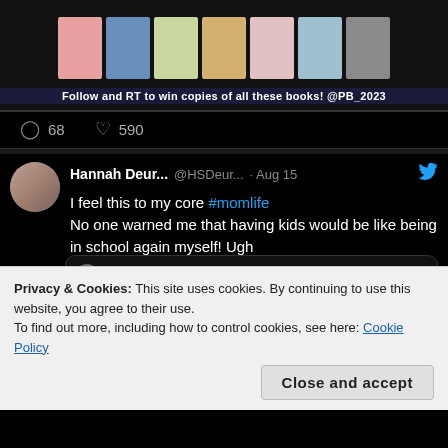[Figure (screenshot): Book covers banner strip with caption: Follow and RT to win copies of all these books! @PB_2023]
68  590
Hannah Deur... @HSDeur... · Aug 15
I feel this to my core #momlife
No one warned me that having kids would be like being in school again myself! Ugh
Sara @mommabear_06 · Aug 15
Kids start school next week. Practice getting up early last week an this week is
Privacy & Cookies: This site uses cookies. By continuing to use this website, you agree to their use.
To find out more, including how to control cookies, see here: Cookie Policy
Close and accept